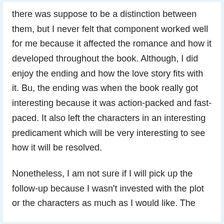there was suppose to be a distinction between them, but I never felt that component worked well for me because it affected the romance and how it developed throughout the book. Although, I did enjoy the ending and how the love story fits with it. Bu, the ending was when the book really got interesting because it was action-packed and fast-paced. It also left the characters in an interesting predicament which will be very interesting to see how it will be resolved.
Nonetheless, I am not sure if I will pick up the follow-up because I wasn't invested with the plot or the characters as much as I would like. The